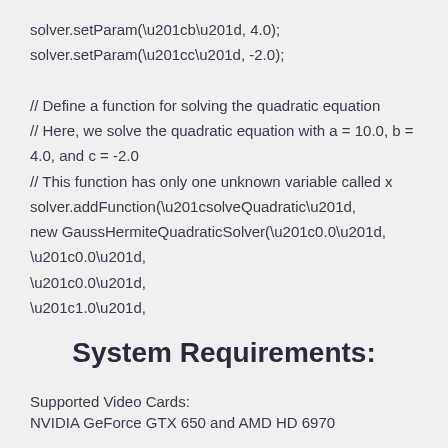solver.setParam(“b”, 4.0);
solver.setParam(“c”, -2.0);
// Define a function for solving the quadratic equation
// Here, we solve the quadratic equation with a = 10.0, b = 4.0, and c = -2.0
// This function has only one unknown variable called x
solver.addFunction(“solveQuadratic”,
new GaussHermiteQuadraticSolver(“0.0”,
“0.0”,
“0.0”,
“1.0”,
System Requirements:
Supported Video Cards:
NVIDIA GeForce GTX 650 and AMD HD 6970